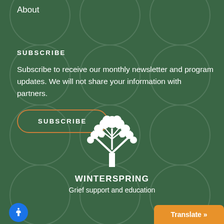About
SUBSCRIBE
Subscribe to receive our monthly newsletter and program updates. We will not share your information with partners.
SUBSCRIBE
[Figure (logo): Winterspring tree logo — white stylized tree illustration on dark green background]
WINTERSPRING
Grief support and education
Translate »